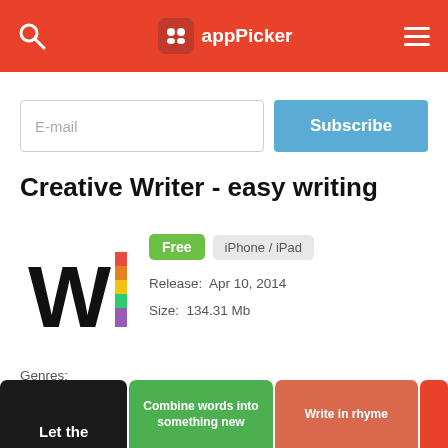appPicker
E-mail
Subscribe
Creative Writer - easy writing
[Figure (logo): Creative Writer app icon showing bold W with colorful vertical bar]
Free  iPhone / iPad
Release: Apr 10, 2014
Size: 134.31 Mb
Genres:
Productivity  Education
[Figure (screenshot): Three app feature cards: 'Let the' on dark background, 'Combine words into something new' on green background, 'Write in rhyme' on orange-red background]